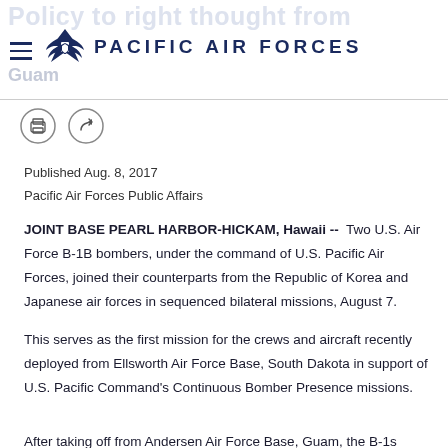PACIFIC AIR FORCES
Published Aug. 8, 2017
Pacific Air Forces Public Affairs
JOINT BASE PEARL HARBOR-HICKAM, Hawaii -- Two U.S. Air Force B-1B bombers, under the command of U.S. Pacific Air Forces, joined their counterparts from the Republic of Korea and Japanese air forces in sequenced bilateral missions, August 7.
This serves as the first mission for the crews and aircraft recently deployed from Ellsworth Air Force Base, South Dakota in support of U.S. Pacific Command's Continuous Bomber Presence missions.
After taking off from Andersen Air Force Base, Guam, the B-1s